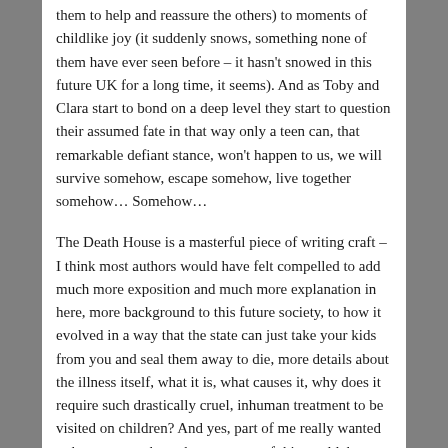them to help and reassure the others) to moments of childlike joy (it suddenly snows, something none of them have ever seen before – it hasn't snowed in this future UK for a long time, it seems). And as Toby and Clara start to bond on a deep level they start to question their assumed fate in that way only a teen can, that remarkable defiant stance, won't happen to us, we will survive somehow, escape somehow, live together somehow… Somehow…
The Death House is a masterful piece of writing craft – I think most authors would have felt compelled to add much more exposition and much more explanation in here, more background to this future society, to how it evolved in a way that the state can just take your kids from you and seal them away to die, more details about the illness itself, what it is, what causes it, why does it require such drastically cruel, inhuman treatment to be visited on children? And yes, part of me really wanted to know more about those aspects of this world, but on reflection those are just details, and distracting ones at that. Pinborough, wisely, I think, eschews those partly because it enhances the sense of isolation and dread and fear in the house and